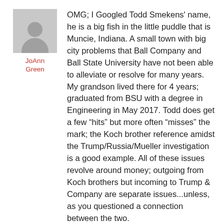[Figure (illustration): Generic user avatar silhouette in gray]
JoAnn Green
OMG; I Googled Todd Smekens' name, he is a big fish in the little puddle that is Muncie, Indiana. A small town with big city problems that Ball Company and Ball State University have not been able to alleviate or resolve for many years. My grandson lived there for 4 years; graduated from BSU with a degree in Engineering in May 2017. Todd does get a few “hits” but more often “misses” the mark; the Koch brother reference amidst the Trump/Russia/Mueller investigation is a good example. All of these issues revolve around money; outgoing from Koch brothers but incoming to Trump & Company are separate issues...unless, as you questioned a connection between the two.